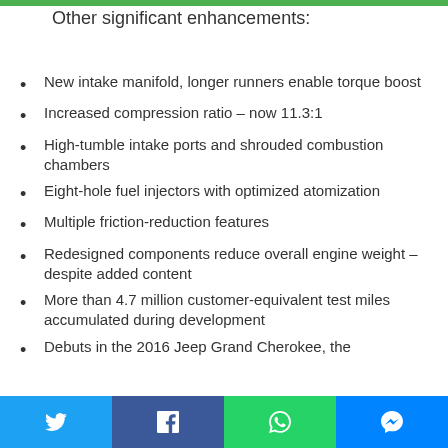Other significant enhancements:
New intake manifold, longer runners enable torque boost
Increased compression ratio – now 11.3:1
High-tumble intake ports and shrouded combustion chambers
Eight-hole fuel injectors with optimized atomization
Multiple friction-reduction features
Redesigned components reduce overall engine weight – despite added content
More than 4.7 million customer-equivalent test miles accumulated during development
Debuts in the 2016 Jeep Grand Cherokee, the